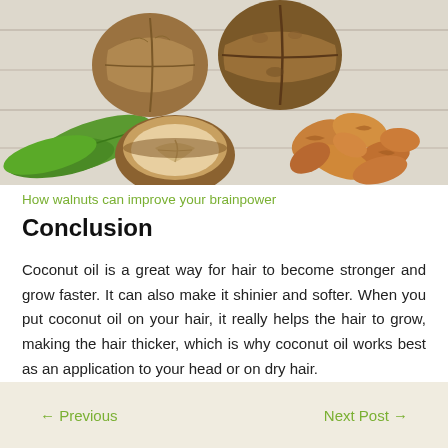[Figure (photo): Photo of walnuts — whole walnuts, a halved walnut shell showing the nut inside, loose walnut kernels, and green leaves arranged on a white wooden surface.]
How walnuts can improve your brainpower
Conclusion
Coconut oil is a great way for hair to become stronger and grow faster. It can also make it shinier and softer. When you put coconut oil on your hair, it really helps the hair to grow, making the hair thicker, which is why coconut oil works best as an application to your head or on dry hair.
← Previous    Next Post →